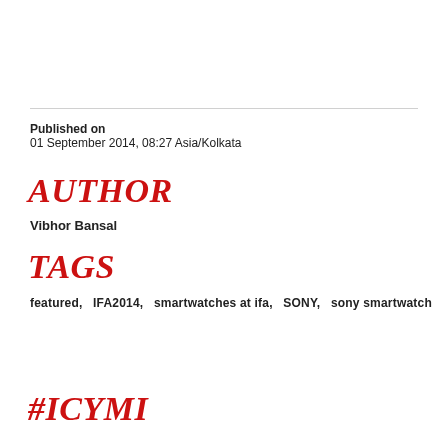Published on
01 September 2014, 08:27 Asia/Kolkata
AUTHOR
Vibhor Bansal
TAGS
featured,   IFA2014,   smartwatches at ifa,   SONY,   sony smartwatch
#ICYMI